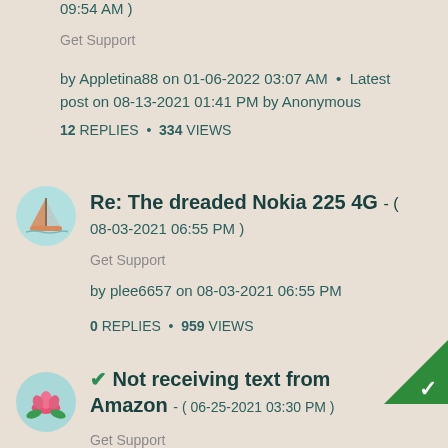09:54 AM )
Get Support
by Appletina88 on 01-06-2022 03:07 AM  •  Latest post on 08-13-2021 01:41 PM by Anonymous
12 REPLIES  *  334 VIEWS
[Figure (illustration): Circular avatar icon with a sailboat on teal/light blue background]
Re: The dreaded Nokia 225 4G - ( 08-03-2021 06:55 PM )
Get Support
by plee6657 on 08-03-2021 06:55 PM
0 REPLIES  *  959 VIEWS
[Figure (illustration): Circular avatar icon with a pink lotus flower on teal/light blue background]
[Figure (illustration): Green triangle corner badge with white checkmark]
✔ Not receiving text from Amazon - ( 06-25-2021 03:30 PM )
Get Support